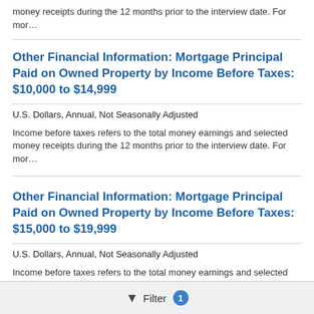money receipts during the 12 months prior to the interview date. For mor…
Other Financial Information: Mortgage Principal Paid on Owned Property by Income Before Taxes: $10,000 to $14,999
U.S. Dollars, Annual, Not Seasonally Adjusted
Income before taxes refers to the total money earnings and selected money receipts during the 12 months prior to the interview date. For mor…
Other Financial Information: Mortgage Principal Paid on Owned Property by Income Before Taxes: $15,000 to $19,999
U.S. Dollars, Annual, Not Seasonally Adjusted
Income before taxes refers to the total money earnings and selected money receipts during the 12 months prior to the interview date. For mor…
Filter 1